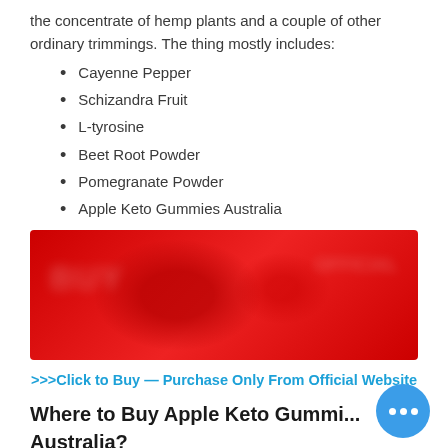the concentrate of hemp plants and a couple of other ordinary trimmings. The thing mostly includes:
Cayenne Pepper
Schizandra Fruit
L-tyrosine
Beet Root Powder
Pomegranate Powder
Apple Keto Gummies Australia
[Figure (photo): Blurred red promotional image/advertisement banner]
>>>Click to Buy — Purchase Only From Official Website
Where to Buy Apple Keto Gummies Australia?